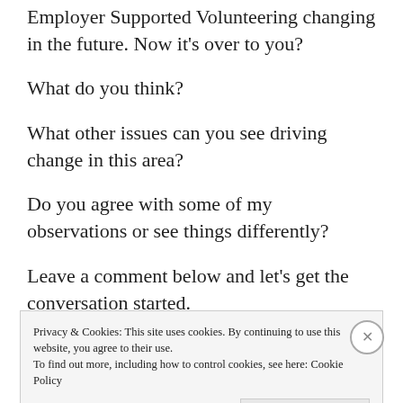Employer Supported Volunteering changing in the future. Now it's over to you?
What do you think?
What other issues can you see driving change in this area?
Do you agree with some of my observations or see things differently?
Leave a comment below and let's get the conversation started.
Privacy & Cookies: This site uses cookies. By continuing to use this website, you agree to their use. To find out more, including how to control cookies, see here: Cookie Policy
Close and accept